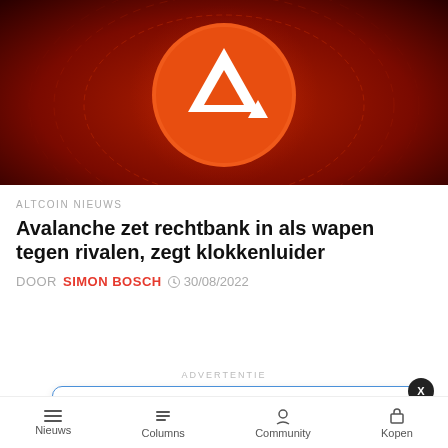[Figure (photo): Avalanche (AVAX) cryptocurrency coin logo on dark red glowing background with circuit-like patterns]
ALTCOIN NIEUWS
Avalanche zet rechtbank in als wapen tegen rivalen, zegt klokkenluider
DOOR SIMON BOSCH  30/08/2022
ADVERTENTIE
[Figure (photo): Advertisement popup showing seeds/grain image with text: 'Bitcoin koers vormt mogelijke bodem op' and timestamp '2 hours ago']
Nieuws  Columns  Community  Kopen